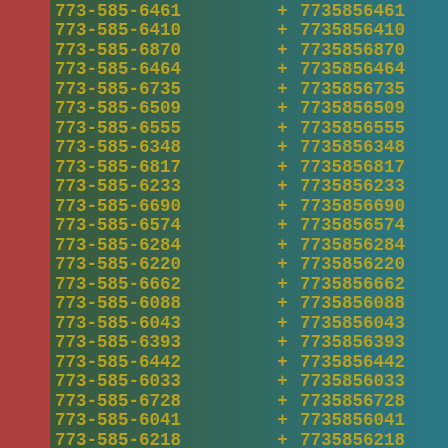773-585-6461 + 7735856461
773-585-6410 + 7735856410
773-585-6870 + 7735856870
773-585-6464 + 7735856464
773-585-6735 + 7735856735
773-585-6509 + 7735856509
773-585-6555 + 7735856555
773-585-6348 + 7735856348
773-585-6817 + 7735856817
773-585-6233 + 7735856233
773-585-6690 + 7735856690
773-585-6574 + 7735856574
773-585-6284 + 7735856284
773-585-6220 + 7735856220
773-585-6662 + 7735856662
773-585-6088 + 7735856088
773-585-6043 + 7735856043
773-585-6393 + 7735856393
773-585-6442 + 7735856442
773-585-6033 + 7735856033
773-585-6728 + 7735856728
773-585-6041 + 7735856041
773-585-6218 + 7735856218